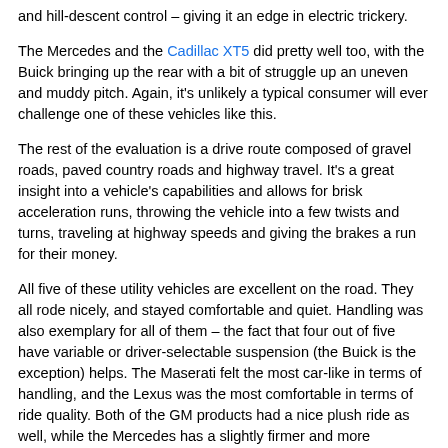and hill-descent control – giving it an edge in electric trickery.
The Mercedes and the Cadillac XT5 did pretty well too, with the Buick bringing up the rear with a bit of struggle up an uneven and muddy pitch. Again, it's unlikely a typical consumer will ever challenge one of these vehicles like this.
The rest of the evaluation is a drive route composed of gravel roads, paved country roads and highway travel. It's a great insight into a vehicle's capabilities and allows for brisk acceleration runs, throwing the vehicle into a few twists and turns, traveling at highway speeds and giving the brakes a run for their money.
All five of these utility vehicles are excellent on the road. They all rode nicely, and stayed comfortable and quiet. Handling was also exemplary for all of them – the fact that four out of five have variable or driver-selectable suspension (the Buick is the exception) helps. The Maserati felt the most car-like in terms of handling, and the Lexus was the most comfortable in terms of ride quality. Both of the GM products had a nice plush ride as well, while the Mercedes has a slightly firmer and more controlled Euro feel to it.